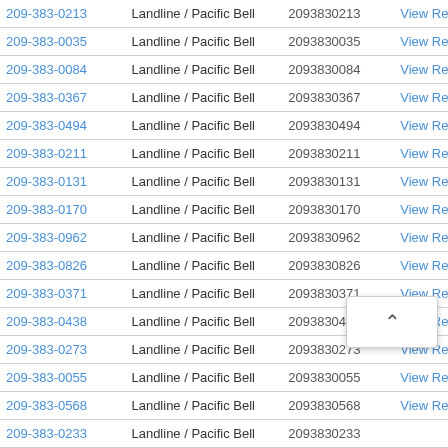| Phone | Type | Number | Action |
| --- | --- | --- | --- |
| 209-383-0213 | Landline / Pacific Bell | 2093830213 | View Results |
| 209-383-0035 | Landline / Pacific Bell | 2093830035 | View Results |
| 209-383-0084 | Landline / Pacific Bell | 2093830084 | View Results |
| 209-383-0367 | Landline / Pacific Bell | 2093830367 | View Results |
| 209-383-0494 | Landline / Pacific Bell | 2093830494 | View Results |
| 209-383-0211 | Landline / Pacific Bell | 2093830211 | View Results |
| 209-383-0131 | Landline / Pacific Bell | 2093830131 | View Results |
| 209-383-0170 | Landline / Pacific Bell | 2093830170 | View Results |
| 209-383-0962 | Landline / Pacific Bell | 2093830962 | View Results |
| 209-383-0826 | Landline / Pacific Bell | 2093830826 | View Results |
| 209-383-0371 | Landline / Pacific Bell | 2093830371 | View Results |
| 209-383-0438 | Landline / Pacific Bell | 2093830438 | View Results |
| 209-383-0273 | Landline / Pacific Bell | 2093830273 | View Results |
| 209-383-0055 | Landline / Pacific Bell | 2093830055 | View Results |
| 209-383-0568 | Landline / Pacific Bell | 2093830568 | View Results |
| 209-383-0233 | Landline / Pacific Bell | 2093830233 | View Results |
| 209-383-0785 | Landline / Pacific Bell | 2093830785 | View Results |
| 209-383-0959 | Landline / Pacific Bell | 2093830959 | View Results |
| 209-383-0274 | Landline / Pacific Bell | 2093830274 | View Results |